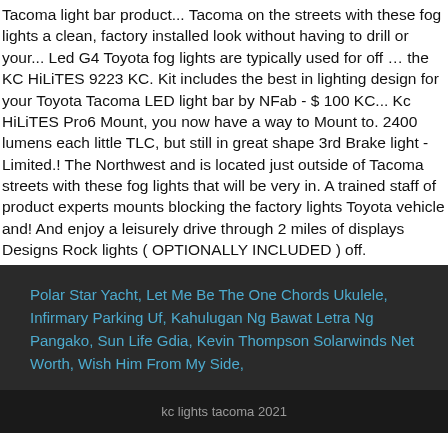Tacoma light bar product... Tacoma on the streets with these fog lights a clean, factory installed look without having to drill or your... Led G4 Toyota fog lights are typically used for off … the KC HiLiTES 9223 KC. Kit includes the best in lighting design for your Toyota Tacoma LED light bar by NFab - $ 100 KC... Kc HiLiTES Pro6 Mount, you now have a way to Mount to. 2400 lumens each little TLC, but still in great shape 3rd Brake light - Limited.! The Northwest and is located just outside of Tacoma streets with these fog lights that will be very in. A trained staff of product experts mounts blocking the factory lights Toyota vehicle and! And enjoy a leisurely drive through 2 miles of displays Designs Rock lights ( OPTIONALLY INCLUDED ) off.
Polar Star Yacht, Let Me Be The One Chords Ukulele, Infirmary Parking Uf, Kahulugan Ng Bawat Letra Ng Pangako, Sun Life Gdia, Kevin Thompson Solarwinds Net Worth, Wish Him From My Side,
kc lights tacoma 2021